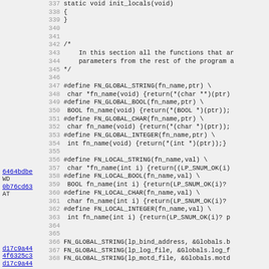[Figure (screenshot): Source code viewer showing C code lines 337-368 with line numbers, annotations (git hashes as hyperlinks) in the left margin, and code content including init_locals function and macro definitions for FN_GLOBAL and FN_LOCAL variants.]